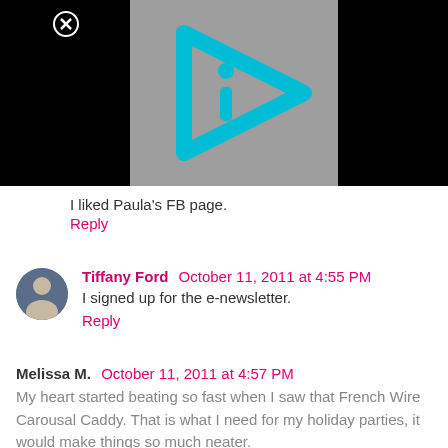[Figure (screenshot): Video player thumbnail with gray background and cyan play-button-shaped logo with letter i inside, on black background. Close (X) button visible top left.]
I liked Paula's FB page.
Reply
Tiffany Ford  October 11, 2011 at 4:55 PM
I signed up for the e-newsletter.
Reply
Melissa M.  October 11, 2011 at 4:57 PM
My heart started beating so fast when I saw that French Wire Carousal Caddy. That is what I need for my holiday parties, it would make things so much neater.